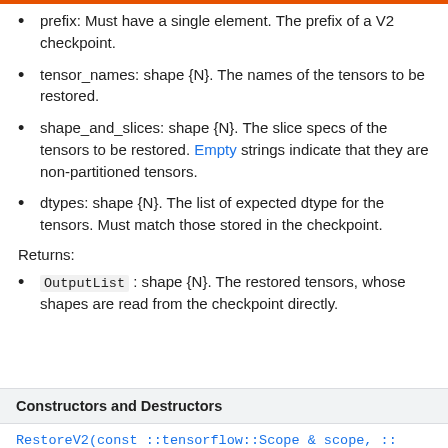prefix: Must have a single element. The prefix of a V2 checkpoint.
tensor_names: shape {N}. The names of the tensors to be restored.
shape_and_slices: shape {N}. The slice specs of the tensors to be restored. Empty strings indicate that they are non-partitioned tensors.
dtypes: shape {N}. The list of expected dtype for the tensors. Must match those stored in the checkpoint.
Returns:
OutputList : shape {N}. The restored tensors, whose shapes are read from the checkpoint directly.
| Constructors and Destructors |
| --- |
RestoreV2(const ::tensorflow::Scope & scope, ::